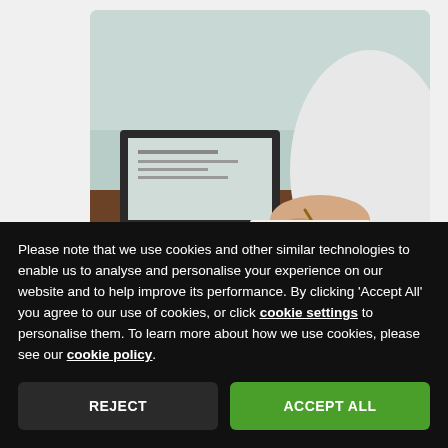[Figure (photo): Person wearing white shirt sitting at a wooden desk, using a laptop and writing with a pen on paper. The laptop screen is visible showing a document or spreadsheet.]
Please note that we use cookies and other similar technologies to enable us to analyse and personalise your experience on our website and to help improve its performance. By clicking 'Accept All' you agree to our use of cookies, or click cookie settings to personalise them. To learn more about how we use cookies, please see our cookie policy.